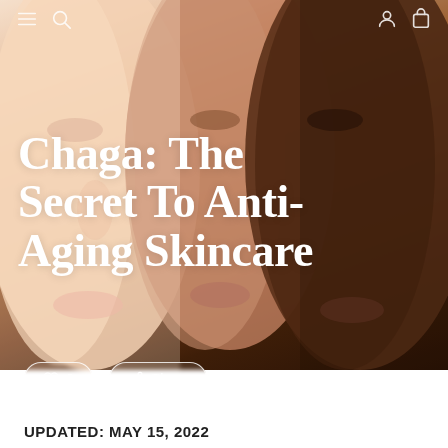Navigation bar with menu, search, user, and cart icons
[Figure (photo): Three women of different skin tones shown in profile/side view from left to right: fair skin, medium skin, dark skin. Cropped to show faces and necks against a light background.]
Chaga: The Secret To Anti-Aging Skincare
♡ 0   Share
UPDATED: May 15, 2022